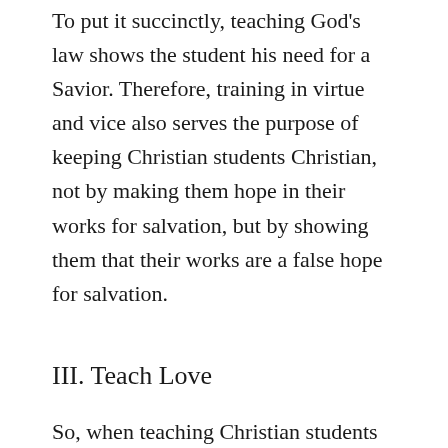To put it succinctly, teaching God's law shows the student his need for a Savior. Therefore, training in virtue and vice also serves the purpose of keeping Christian students Christian, not by making them hope in their works for salvation, but by showing them that their works are a false hope for salvation.
III. Teach Love
So, when teaching Christian students we teach, first, God's Word, second, virtue and vice; and third, we teach the Christian student how to love and serve his neighbor. The sinful flesh may be incurvatus in se, but as a new creation in Christ the student is turned out from himself. The saint desires